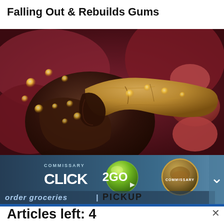Falling Out & Rebuilds Gums
[Figure (illustration): Medical 3D illustration of a pancreas (yellowish-tan organ) surrounded by dark reddish tissue and intestines, with glowing golden orbs visible in the background.]
[Figure (other): Advertisement banner for Commissary Click2Go with a green circular logo, commissary badge logo, and text 'order groceries | PICKUP' on a blue-grey gradient background. A chevron/arrow pointing down-right is on the far right.]
Articles left: 4
Subscribe to get unlimited access  Subscribe
Already have an account?  Login here